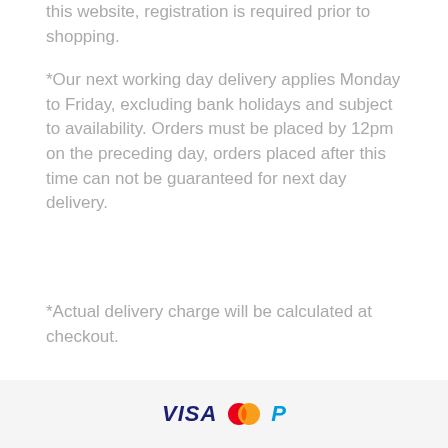this website, registration is required prior to shopping.
*Our next working day delivery applies Monday to Friday, excluding bank holidays and subject to availability. Orders must be placed by 12pm on the preceding day, orders placed after this time can not be guaranteed for next day delivery.
*Actual delivery charge will be calculated at checkout.
[Figure (logo): Payment logos: VISA, Mastercard, PayPal]